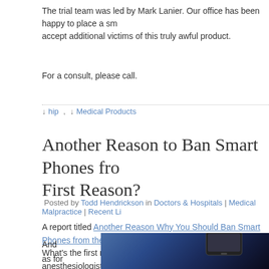The trial team was led by Mark Lanier. Our office has been happy to place a sm... accept additional victims of this truly awful product.
For a consult, please call.
↓ hip , ↓ Medical Products
Another Reason to Ban Smart Phones from... First Reason?
Posted by Todd Hendrickson in Doctors & Hospitals | Medical Malpractice | Recent Li...
A report titled Another Reason Why You Should Ban Smart Phones from the O... What's the first reason? Is there any reason why a surgeon, anesthesiologist, n... smart phone in the OR? Granted, some hospitals may utilize tablets to record p... be surfing the 'net during a procedure?
And as for the
[Figure (photo): Dark blue-toned photo showing what appears to be a smartphone in a medical/OR setting]